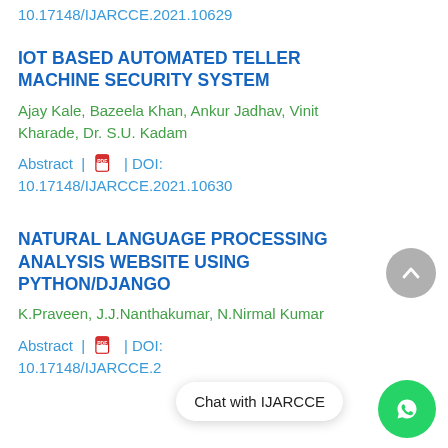10.17148/IJARCCE.2021.10629
IOT BASED AUTOMATED TELLER MACHINE SECURITY SYSTEM
Ajay Kale, Bazeela Khan, Ankur Jadhav, Vinit Kharade, Dr. S.U. Kadam
Abstract | PDF | DOI: 10.17148/IJARCCE.2021.10630
NATURAL LANGUAGE PROCESSING ANALYSIS WEBSITE USING PYTHON/DJANGO
K.Praveen, J.J.Nanthakumar, N.Nirmal Kumar
Abstract | PDF | DOI: 10.17148/IJARCCE.2...
Chat with IJARCCE